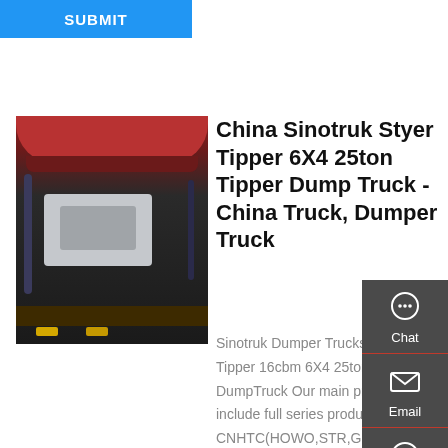SUBMIT
[Figure (photo): Engine bay photo of a truck, showing red hood, engine block components, cables, and chassis rail with yellow markings]
China Sinotruk Styer Tipper 6X4 25ton Tipper Dump Truck - China Truck, Dumper Truck
Sinotruk Dumper Trucks Styer Tipper 16cbm 6X4 25ton DumpTruck Our main products include full series products of CNHTC(HOWO,STR,Golden Prince,etc.), buses, trailers,